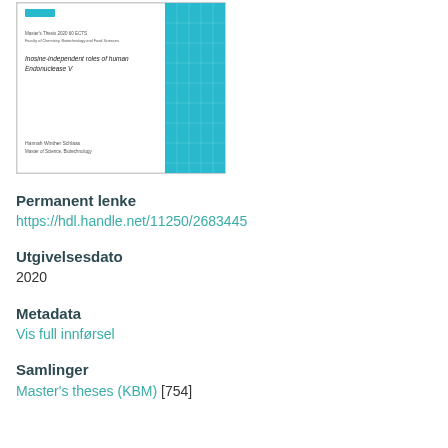[Figure (other): Thumbnail of a master's thesis cover page titled 'Inosine-independent roles of human Endonuclease V' with a teal/blue geometric design on the right side, author Hannah Winther Schlaas.]
Permanent lenke
https://hdl.handle.net/11250/2683445
Utgivelsesdato
2020
Metadata
Vis full innførsel
Samlinger
Master's theses (KBM) [754]